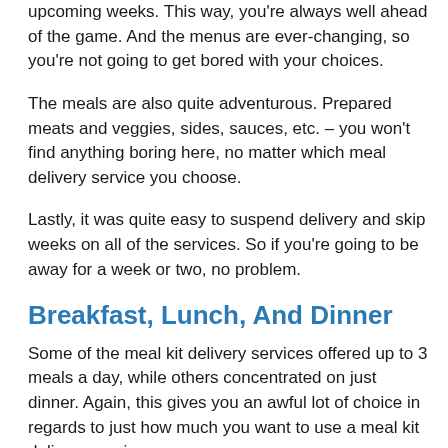upcoming weeks. This way, you're always well ahead of the game. And the menus are ever-changing, so you're not going to get bored with your choices.
The meals are also quite adventurous. Prepared meats and veggies, sides, sauces, etc. – you won't find anything boring here, no matter which meal delivery service you choose.
Lastly, it was quite easy to suspend delivery and skip weeks on all of the services. So if you're going to be away for a week or two, no problem.
Breakfast, Lunch, And Dinner
Some of the meal kit delivery services offered up to 3 meals a day, while others concentrated on just dinner. Again, this gives you an awful lot of choice in regards to just how much you want to use a meal kit delivery service.
Hold The Gluten (Or The Meat!) – Special